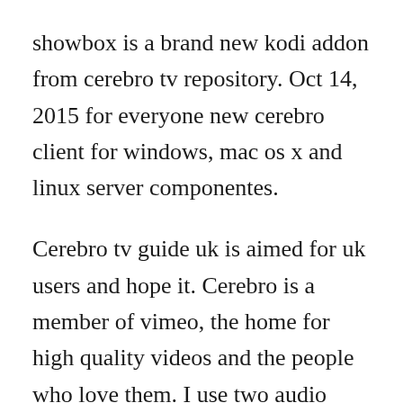showbox is a brand new kodi addon from cerebro tv repository. Oct 14, 2015 for everyone new cerebro client for windows, mac os x and linux server componentes.
Cerebro tv guide uk is aimed for uk users and hope it. Cerebro is a member of vimeo, the home for high quality videos and the people who love them. I use two audio outputs to amplify my songs using my tv and my speakers, but i dont know make it in the default sound manager and i dont want mess around with my system changing it. Cerebro